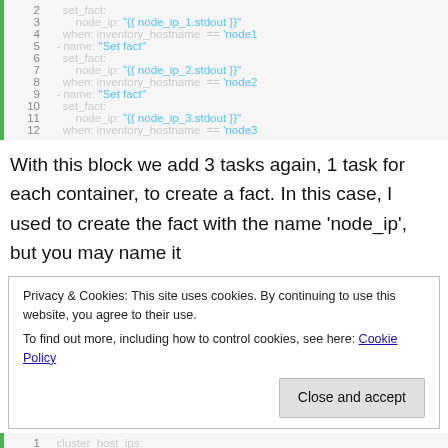[Figure (screenshot): Code block showing Ansible YAML tasks with line numbers 2-12, setting node_ip facts for different inventory hostnames.]
With this block we add 3 tasks again, 1 task for each container, to create a fact. In this case, I used to create the fact with the name ‘node_ip’, but you may name it
Privacy & Cookies: This site uses cookies. By continuing to use this website, you agree to their use.
To find out more, including how to control cookies, see here: Cookie Policy
Close and accept
[Figure (screenshot): Bottom partial code block line 1 showing cluster_host_ips:]